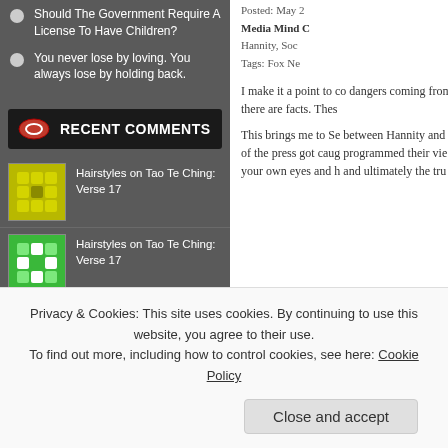Should The Government Require A License To Have Children?
You never lose by loving. You always lose by holding back.
RECENT COMMENTS
Hairstyles on Tao Te Ching: Verse 17
Hairstyles on Tao Te Ching: Verse 17
Fashion Styles on Tao Te Ching: Verse 17
Hairstyles on Tao Te Ching: Verse 17
Ebenezer Suresh on Evolution V.S. Creationism
Ebenezer Suresh on The Alternate Reality of The R...
Posted: May 2
Media Mind C
Hannity, Soc
Tags: Fox Ne
I make it a point to co dangers coming from there are facts. Thes
This brings me to Se between Hannity and of the press got caug programmed their vie your own eyes and h and ultimately the tru
Privacy & Cookies: This site uses cookies. By continuing to use this website, you agree to their use.
To find out more, including how to control cookies, see here: Cookie Policy
Close and accept